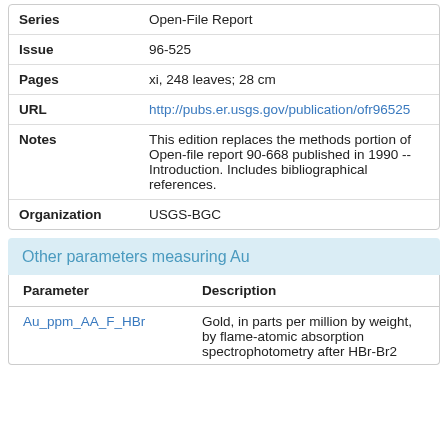|  |  |
| --- | --- |
| Series | Open-File Report |
| Issue | 96-525 |
| Pages | xi, 248 leaves; 28 cm |
| URL | http://pubs.er.usgs.gov/publication/ofr96525 |
| Notes | This edition replaces the methods portion of Open-file report 90-668 published in 1990 -- Introduction. Includes bibliographical references. |
| Organization | USGS-BGC |
Other parameters measuring Au
| Parameter | Description |
| --- | --- |
| Au_ppm_AA_F_HBr | Gold, in parts per million by weight, by flame-atomic absorption spectrophotometry after HBr-Br2 |